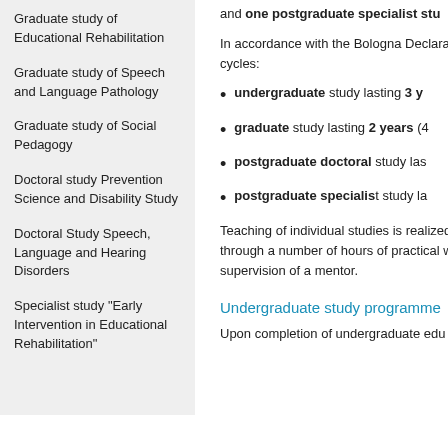Graduate study of Educational Rehabilitation
Graduate study of Speech and Language Pathology
Graduate study of Social Pedagogy
Doctoral study Prevention Science and Disability Study
Doctoral Study Speech, Language and Hearing Disorders
Specialist study "Early Intervention in Educational Rehabilitation"
and one postgraduate specialist stu
In accordance with the Bologna Declara cycles:
undergraduate study lasting 3 y
graduate study lasting 2 years (4
postgraduate doctoral study las
postgraduate specialist study la
Teaching of individual studies is realized through a number of hours of practical w supervision of a mentor.
Undergraduate study programme
Upon completion of undergraduate edu